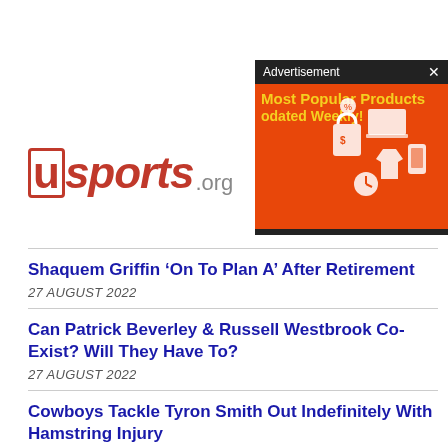[Figure (logo): usports.org logo with red U in outlined box and red italic sports text with grey .org]
[Figure (infographic): Advertisement popup with dark header showing 'Advertisement x', orange background with yellow text 'Most Popular Products odated Weekly!' and illustrated shopping icons]
Shaquem Griffin ‘On To Plan A’ After Retirement
27 AUGUST 2022
Can Patrick Beverley & Russell Westbrook Co-Exist? Will They Have To?
27 AUGUST 2022
Cowboys Tackle Tyron Smith Out Indefinitely With Hamstring Injury
27 AUGUST 2022